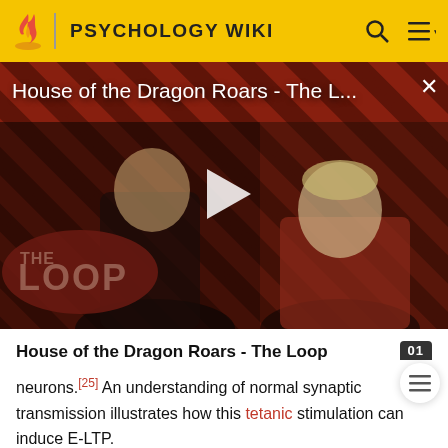PSYCHOLOGY WIKI
[Figure (screenshot): Video thumbnail for 'House of the Dragon Roars - The L...' showing two characters against a red diagonal striped background with a play button overlay and 'THE LOOP' badge in the lower left. A close (X) button is in the upper right.]
House of the Dragon Roars - The Loop
neurons.[25] An understanding of normal synaptic transmission illustrates how this tetanic stimulation can induce E-LTP.